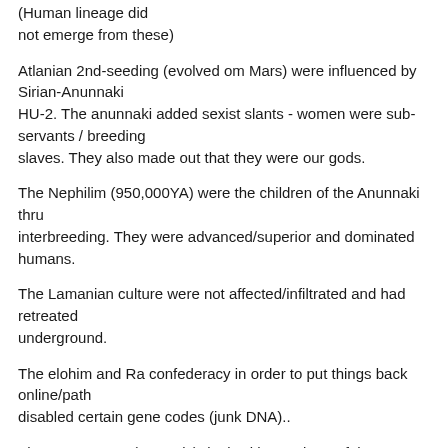(Human lineage did not emerge from these)
Atlanian 2nd-seeding (evolved om Mars) were influenced by Sirian-Anunnaki HU-2. The anunnaki added sexist slants - women were sub-servants / breeding slaves. They also made out that they were our gods.
The Nephilim (950,000YA) were the children of the Anunnaki thru interbreeding. They were advanced/superior and dominated humans.
The Lamanian culture were not affected/infiltrated and had retreated underground.
The elohim and Ra confederacy in order to put things back online/path disabled certain gene codes (junk DNA)..
The HU-2 Group (Genesis) dealt with members of the